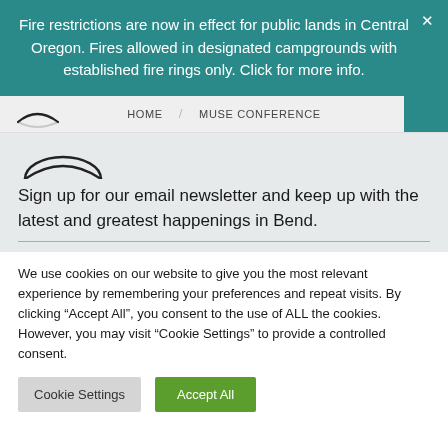Fire restrictions are now in effect for public lands in Central Oregon. Fires allowed in designated campgrounds with established fire rings only. Click for more info.
HOME   MUSE CONFERENCE
Sign up for our email newsletter and keep up with the latest and greatest happenings in Bend.
We use cookies on our website to give you the most relevant experience by remembering your preferences and repeat visits. By clicking “Accept All”, you consent to the use of ALL the cookies. However, you may visit “Cookie Settings” to provide a controlled consent.
Cookie Settings   Accept All